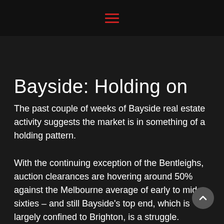≡
Bayside: Holding on
The past couple of weeks of Bayside real estate activity suggests the market is in something of a holding pattern.
With the continuing exception of the Bentleighs, auction clearances are hovering around 50% against the Melbourne average of early to mid sixties – and still Bayside's top end, which is largely confined to Brighton, is a struggle.